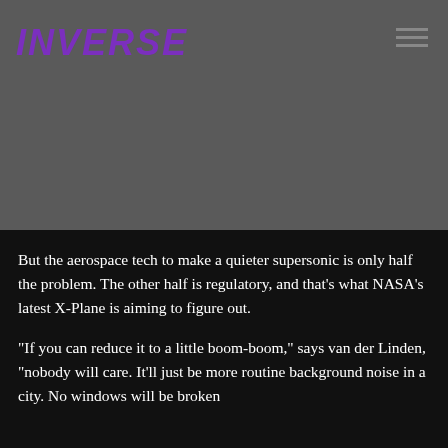INVERSE
[Figure (photo): Dark gray background image area, likely showing an aircraft or aerospace subject, largely obscured.]
But the aerospace tech to make a quieter supersonic is only half the problem. The other half is regulatory, and that's what NASA's latest X-Plane is aiming to figure out.
"If you can reduce it to a little boom-boom," says van der Linden, "nobody will care. It'll just be more routine background noise in a city. No windows will be broken and no one will complain to the local authorities, either.